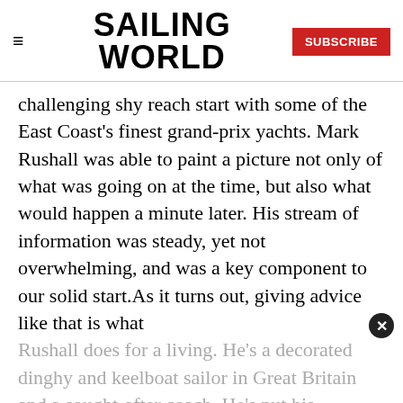SAILING WORLD | SUBSCRIBE
challenging shy reach start with some of the East Coast's finest grand-prix yachts. Mark Rushall was able to paint a picture not only of what was going on at the time, but also what would happen a minute later. His stream of information was steady, yet not overwhelming, and was a key component to our solid start.As it turns out, giving advice like that is what
Rushall does for a living. He's a decorated dinghy and keelboat sailor in Great Britain and a sought-after coach. He's put his